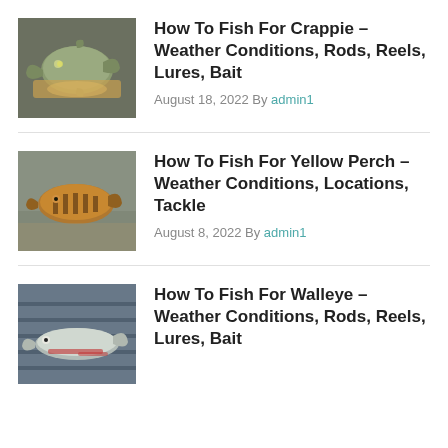[Figure (photo): Photo of a crappie fish being held in a hand outdoors]
How To Fish For Crappie – Weather Conditions, Rods, Reels, Lures, Bait
August 18, 2022 By admin1
[Figure (photo): Photo of a yellow perch fish being held in a hand outdoors near a wall]
How To Fish For Yellow Perch – Weather Conditions, Locations, Tackle
August 8, 2022 By admin1
[Figure (photo): Photo of a walleye fish lying on a wooden dock surface]
How To Fish For Walleye – Weather Conditions, Rods, Reels, Lures, Bait